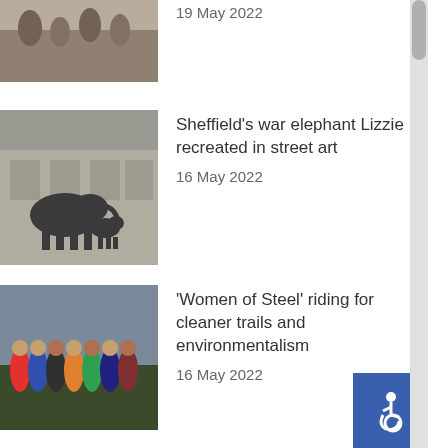[Figure (photo): Top article thumbnail - partial view, people on street]
19 May 2022
[Figure (photo): Sheffield war elephant Lizzie street art mural]
Sheffield’s war elephant Lizzie recreated in street art
16 May 2022
[Figure (photo): Group of cyclists Women of Steel]
‘Women of Steel’ riding for cleaner trails and environmentalism
16 May 2022
[Figure (photo): Sheffield United fans with smoke flares]
‘A place in the final would solidify everyone’s love for the Blades’: Sheffield United fans remain hopeful despite defeat
16 May 2022